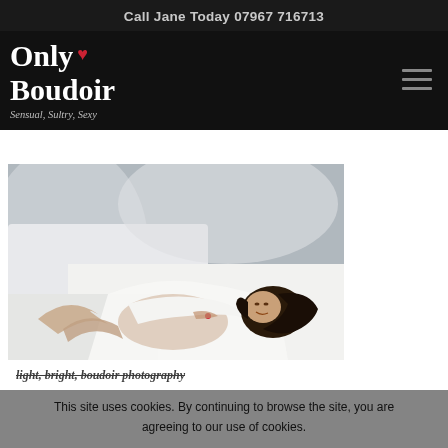Call Jane Today 07967 716713
Only Boudoir
Sensual, Sultry, Sexy
[Figure (photo): Boudoir photography image: a dark-haired woman posing on white bedding, partially covered with a white sheet, looking at the camera with a smile. Studio-lit, light and bright style.]
light, bright, boudoir photography
This site uses cookies. By continuing to browse the site, you are agreeing to our use of cookies.